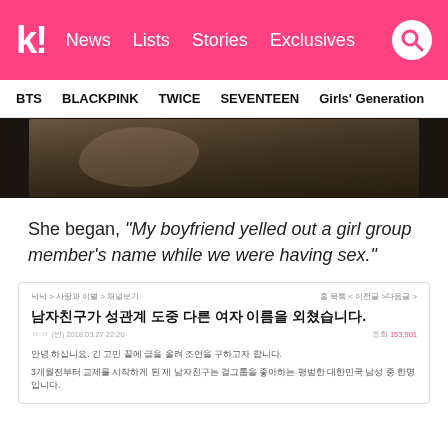k! News Lists Stories Exclusives
BTS  BLACKPINK  TWICE  SEVENTEEN  Girls' Generation
[Figure (photo): Dark cinematic photo, partial view of a person lying back with dark hair and dark clothing]
She began, “My boyfriend yelled out a girl group member’s name while we were having sex.”
낙낙 ※ 사랑과 이별 ※ 채널보기 / 조회 153,901 / 2018.03.27 22:20
남자친구가 성관계 도중 다른 여자 이름을 외쳓습니다.
안녕 하십니요. 제 고인 분께 글을 올려 조언을 구하고자 합니다.
3개월전부터 교제를 시작하게 된 제 낙자친구는 걸그룹을 좋아하는 평범한 대한민국 남성 중 한명입니다.